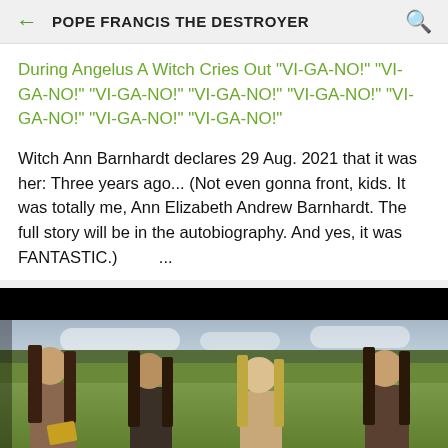POPE FRANCIS THE DESTROYER
During Angelus A Witch Cries Out "VI-GA-NO!" "VI-GA-NO!" "VI-GA-NO!" "VI-GA-NO!" "VI-GA-NO!" "VI-GA-NO!" "VI-GA-NO!" "VI-GA-NO!"
Witch Ann Barnhardt declares 29 Aug. 2021 that it was her: Three years ago... (Not even gonna front, kids. It was totally me, Ann Elizabeth Andrew Barnhardt. The full story will be in the autobiography. And yes, it was FANTASTIC.)        ...
[Figure (photo): Photo of four young women standing outdoors in a green field with a cloudy sky in the background. They appear to be smiling. The image has a black bar at the top.]